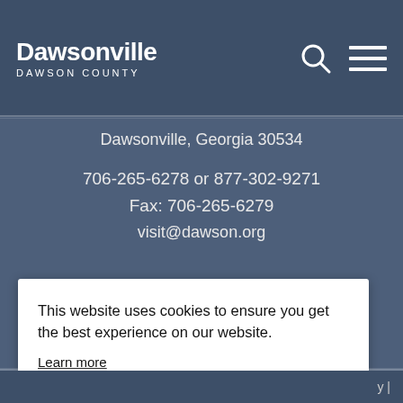Dawsonville DAWSON COUNTY
Dawsonville, Georgia 30534
706-265-6278 or 877-302-9271
Fax: 706-265-6279
visit@dawson.org
This website uses cookies to ensure you get the best experience on our website.
Learn more
Got it!
y |